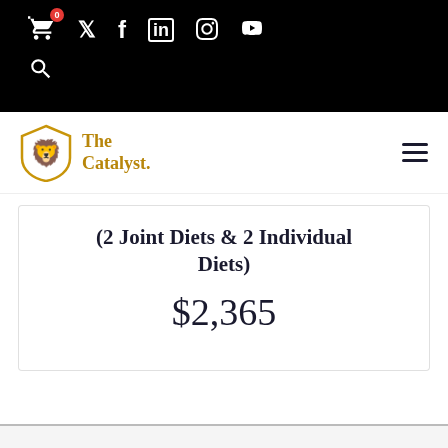Navigation bar with cart, social icons (Twitter, Facebook, LinkedIn, Instagram, YouTube), search icon, The Catalyst logo and hamburger menu
(2 Joint Diets & 2 Individual Diets)
$2,365